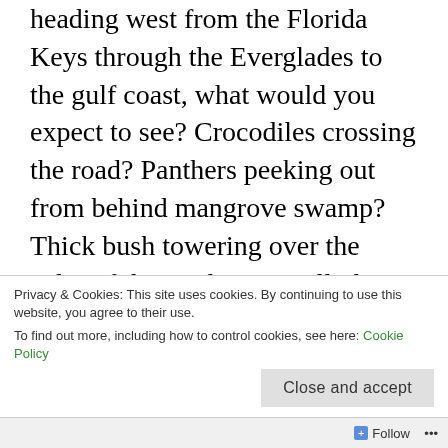heading west from the Florida Keys through the Everglades to the gulf coast, what would you expect to see? Crocodiles crossing the road? Panthers peeking out from behind mangrove swamp? Thick bush towering over the sides of the roadway? Well, that's what we were expecting when we set out from Key Largo (first stop on the recent road trip) to Naples. Instead, what we saw were flat sawgrass marshes, mangrove marshes and lots of signs to beware of panther crossings. Oh, and then there was that line of traffic and no place to pass. But, then, that's what road trips are all about…
Privacy & Cookies: This site uses cookies. By continuing to use this website, you agree to their use.
To find out more, including how to control cookies, see here: Cookie Policy
Close and accept